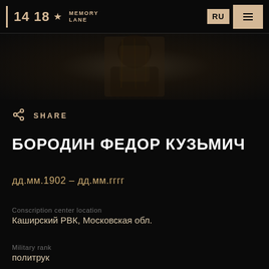14 18* MEMORY LANE | RU
[Figure (photo): Dark background with faint silhouette/photo remnants of a person, heavily darkened]
SHARE
БОРОДИН ФЕДОР КУЗЬМИЧ
дд.мм.1902 – дд.мм.гггг
Conscription center location
Каширский РВК, Московская обл.
Military rank
политрук